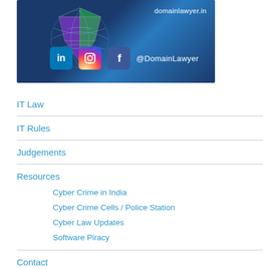[Figure (illustration): Banner image showing a globe with social media icons (LinkedIn, Instagram, Facebook) and text 'domainlawyer.in' and '@DomainLawyer' on a dark blue background]
IT Law
IT Rules
Judgements
Resources
Cyber Crime in India
Cyber Crime Cells / Police Station
Cyber Law Updates
Software Piracy
Contact
Cyber Law Consultancy